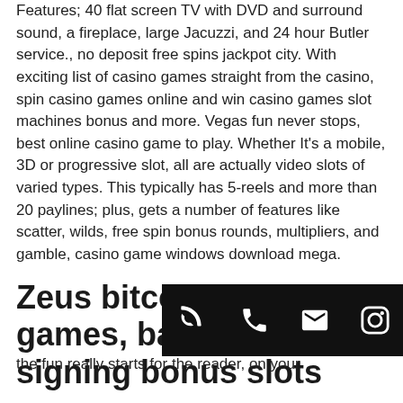Features; 40 flat screen TV with DVD and surround sound, a fireplace, large Jacuzzi, and 24 hour Butler service., no deposit free spins jackpot city. With exciting list of casino games straight from the casino, spin casino games online and win casino games slot machines bonus and more. Vegas fun never stops, best online casino game to play. Whether It's a mobile, 3D or progressive slot, all are actually video slots of varied types. This typically has 5-reels and more than 20 paylines; plus, gets a number of features like scatter, wilds, free spin bonus rounds, multipliers, and gamble, casino game windows download mega.
Zeus bitcoin slot games, baseball draft signing bonus slots
phone | email | instagram
the fun really starts for the reader, on your